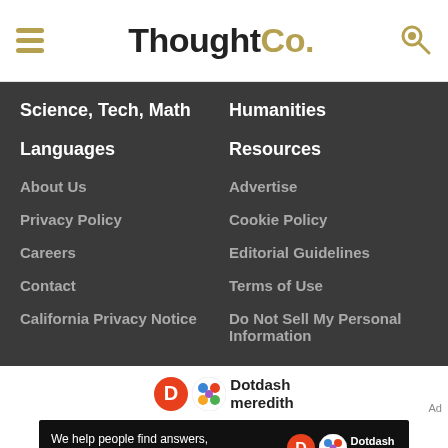ThoughtCo.
Science, Tech, Math
Humanities
Languages
Resources
About Us
Advertise
Privacy Policy
Cookie Policy
Careers
Editorial Guidelines
Contact
Terms of Use
California Privacy Notice
Do Not Sell My Personal Information
[Figure (logo): Dotdash Meredith logo with colored pattern icon]
[Figure (screenshot): Ad banner: We help people find answers, solve problems and get inspired. Dotdash meredith logo.]